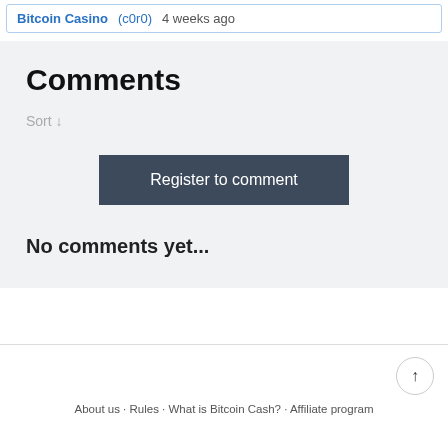Bitcoin Casino (c0r0)   4 weeks ago
Comments
Sort ↓
Register to comment
No comments yet...
About us · Rules · What is Bitcoin Cash? · Affiliate program